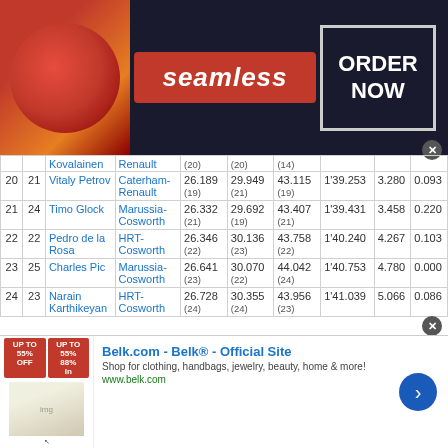[Figure (other): Seamless food ordering advertisement banner with pizza image, Seamless logo, and ORDER NOW button]
|  |  | Driver | Team | S1 | S2 | S3 | Best | Gap | Int |
| --- | --- | --- | --- | --- | --- | --- | --- | --- | --- |
|  |  | Kovalainen | Renault | (20) | (20) | (14) |  |  |  |
| 20 | 21 | Vitaly Petrov | Caterham-Renault | 26.189
(19) | 29.949
(21) | 43.115
(19) | 1'39.253 | 3.280 | 0.093 |
| 21 | 24 | Timo Glock | Marussia-Cosworth | 26.332
(21) | 29.692
(19) | 43.407
(21) | 1'39.431 | 3.458 | 0.220 |
| 22 | 22 | Pedro de la Rosa | HRT-Cosworth | 26.346
(22) | 30.136
(23) | 43.758
(22) | 1'40.240 | 4.267 | 0.103 |
| 23 | 25 | Charles Pic | Marussia-Cosworth | 26.641
(23) | 30.070
(22) | 44.042
(24) | 1'40.753 | 4.780 | 0.000 |
| 24 | 23 | Narain Karthikeyan | HRT-Cosworth | 26.728
(24) | 30.355
(24) | 43.956
(23) | 1'41.039 | 5.066 | 0.086 |
Red Bull, who tend to keep a low profile on Fridays, looked more competitive today. They ran an earlier version of the
[Figure (other): Belk.com advertisement banner with clothing/home goods imagery]